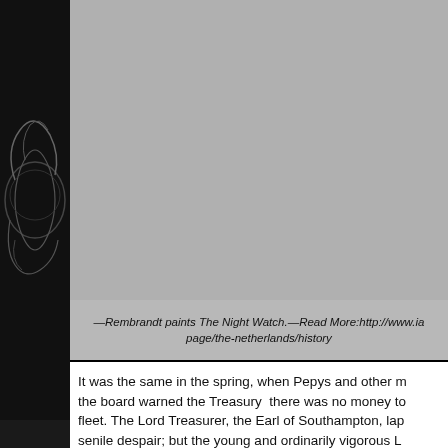[Figure (photo): Dark image with emblem/illustration on the left side and a large grey placeholder image area on the right]
—Rembrandt paints The Night Watch.—Read More:http://www.ia page/the-netherlands/history
It was the same in the spring, when Pepys and other m the board warned the Treasury  there was no money to fleet. The Lord Treasurer, the Earl of Southampton, lap senile despair; but the young and ordinarily vigorous L Chancellor of the Exchequer, was no better: